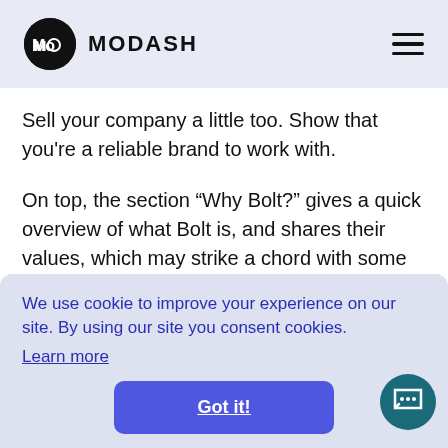MODASH
Sell your company a little too. Show that you're a reliable brand to work with.
On top, the section “Why Bolt?” gives a quick overview of what Bolt is, and shares their values, which may strike a chord with some creators.
We use cookie to improve your experience on our site. By using our site you consent cookies. Learn more
Got it!